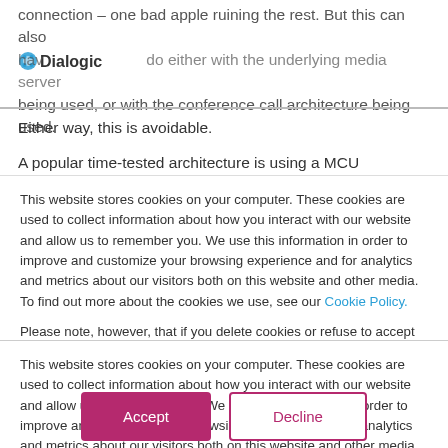connection – one bad apple ruining the rest. But this can also have nothing to do either with the underlying media server being used, or with the conference call architecture being used.
Either way, this is avoidable.

A popular time-tested architecture is using a MCU (Multipoint Control Unit). The MCU is where the audio/video streams from the different clients are sent to this central media server for
This website stores cookies on your computer. These cookies are used to collect information about how you interact with our website and allow us to remember you. We use this information in order to improve and customize your browsing experience and for analytics and metrics about our visitors both on this website and other media. To find out more about the cookies we use, see our Cookie Policy.

Please note, however, that if you delete cookies or refuse to accept them, you might not be able to use all of the features we offer, you may not be able to store your preferences, and some of our pages might not display properly.